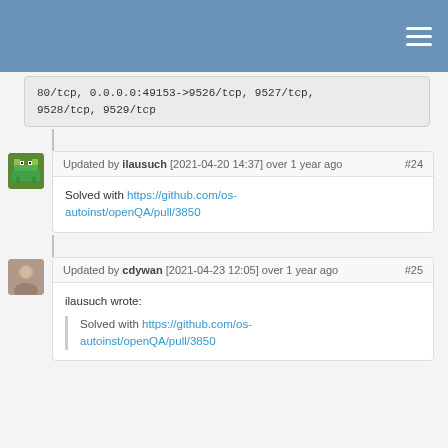80/tcp, 0.0.0.0:49153->9526/tcp, 9527/tcp,
9528/tcp, 9529/tcp
Updated by ilausuch [2021-04-20 14:37] over 1 year ago #24
Solved with https://github.com/os-autoinst/openQA/pull/3850
Updated by cdywan [2021-04-23 12:05] over 1 year ago #25
ilausuch wrote:
Solved with https://github.com/os-autoinst/openQA/pull/3850